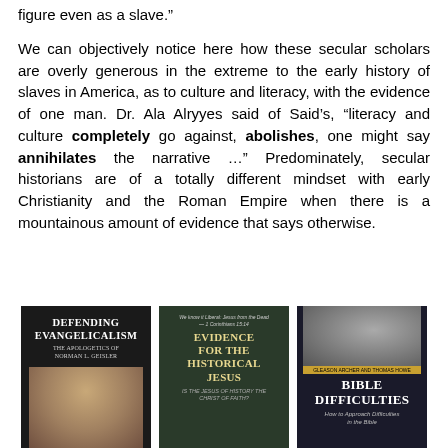figure even as a slave.”
We can objectively notice here how these secular scholars are overly generous in the extreme to the early history of slaves in America, as to culture and literacy, with the evidence of one man. Dr. Ala Alryyes said of Said’s, “literacy and culture completely go against, abolishes, one might say annihilates the narrative …” Predominately, secular historians are of a totally different mindset with early Christianity and the Roman Empire when there is a mountainous amount of evidence that says otherwise.
[Figure (photo): Three book covers side by side: 'Defending Evangelicalism: The Apologetics of Norman L. Geisler', 'Evidence for the Historical Jesus', and 'Bible Difficulties: How to Approach Difficulties in the Bible']